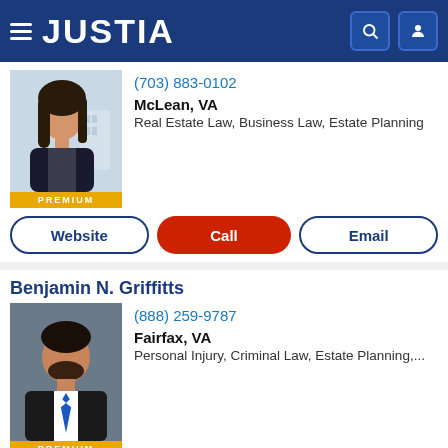JUSTIA
(703) 883-0102
McLean, VA
Real Estate Law, Business Law, Estate Planning
[Figure (photo): Female attorney headshot photo with PREMIUM badge below]
Website | Call | Email
Benjamin N. Griffitts
[Figure (photo): Male attorney headshot photo with PREMIUM badge below]
(888) 259-9787
Fairfax, VA
Personal Injury, Criminal Law, Estate Planning,...
Website | Call | Email
Merritt James Green PRO